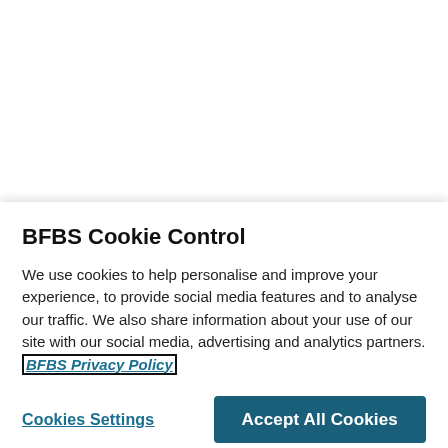RAF Typhoon In Romania Scrambles To Intercept Russians For First Time
BFBS Cookie Control
We use cookies to help personalise and improve your experience, to provide social media features and to analyse our traffic. We also share information about your use of our site with our social media, advertising and analytics partners. BFBS Privacy Policy
Cookies Settings
Accept All Cookies